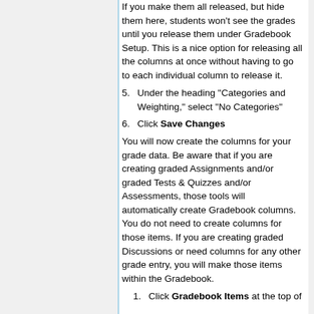If you make them all released, but hide them here, students won't see the grades until you release them under Gradebook Setup. This is a nice option for releasing all the columns at once without having to go to each individual column to release it.
5. Under the heading "Categories and Weighting," select "No Categories"
6. Click Save Changes
You will now create the columns for your grade data. Be aware that if you are creating graded Assignments and/or graded Tests & Quizzes and/or Assessments, those tools will automatically create Gradebook columns. You do not need to create columns for those items. If you are creating graded Discussions or need columns for any other grade entry, you will make those items within the Gradebook.
1. Click Gradebook Items at the top of